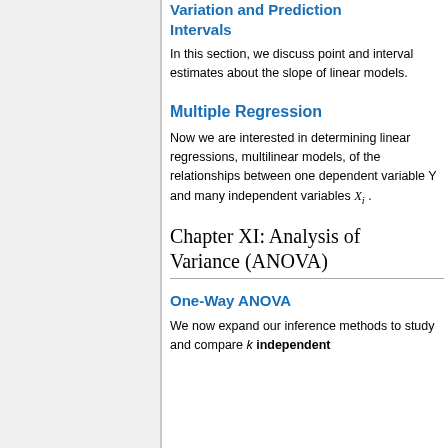Variation and Prediction Intervals
In this section, we discuss point and interval estimates about the slope of linear models.
Multiple Regression
Now we are interested in determining linear regressions, multilinear models, of the relationships between one dependent variable Y and many independent variables X_i.
Chapter XI: Analysis of Variance (ANOVA)
One-Way ANOVA
We now expand our inference methods to study and compare k independent